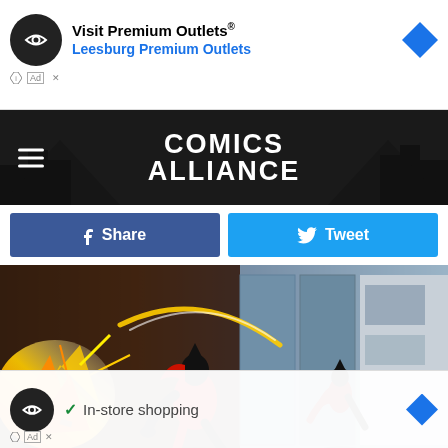[Figure (screenshot): Advertisement banner: Visit Premium Outlets® / Leesburg Premium Outlets with logo and arrow icon]
[Figure (screenshot): Comics Alliance website header with hamburger menu and logo on dark background]
[Figure (screenshot): Facebook Share button (blue) and Twitter Tweet button (cyan)]
[Figure (illustration): Animated comic scene showing superhero figures in action with fire/explosion effects, split scene with two characters]
[Figure (illustration): Black and white comic silhouette scene showing characters in combat with orange star explosion]
[Figure (screenshot): Advertisement banner at bottom: In-store shopping with infinity logo and arrow icon]